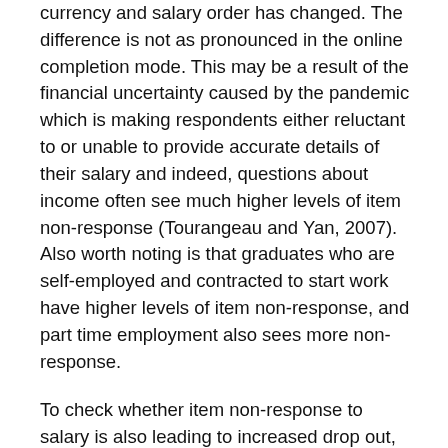currency and salary order has changed. The difference is not as pronounced in the online completion mode. This may be a result of the financial uncertainty caused by the pandemic which is making respondents either reluctant to or unable to provide accurate details of their salary and indeed, questions about income often see much higher levels of item non-response (Tourangeau and Yan, 2007). Also worth noting is that graduates who are self-employed and contracted to start work have higher levels of item non-response, and part time employment also sees more non-response.
To check whether item non-response to salary is also leading to increased drop out, graduates who answered currency as UK £ in the paid work route but did not answer salary were assessed to see if they had answered the employer name question that comes after salary. It is worth noting that this question can also be considered sensitive and can have higher dropout rates than other questions, but it may indicate whether non-responding graduates are just skipping the salary question or if they are dropping out of the survey at that point.